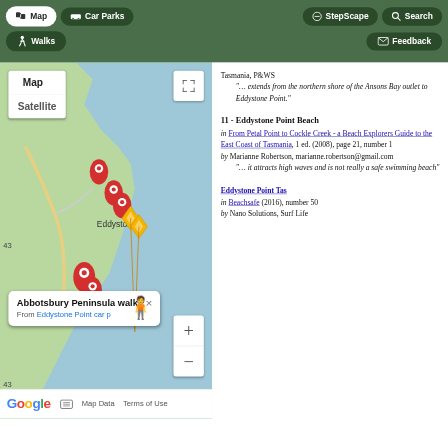[Figure (screenshot): Mobile app navigation bar with Map, Car Parks, StepScape, Search, Walks, and Feedback buttons on dark green background]
[Figure (map): Google Map showing coastal Tasmania near Eddystone Point with location markers, popup card for Abbotsbury Peninsula walk, zoom controls, map/satellite toggle, and Google branding at bottom]
Tasmania, P&WS
“… extends from the northern shore of the Ansons Bay outlet to Eddystone Point.”
11 - Eddystone Point Beach
in From Petal Point to Cockle Creek - a Beach Explorers Guide to the East Coast of Tasmania, 1 ed. (2008), page 21, number 1 by Marianne Robertson, marianne.robertson@gmail.com
“… it attracts high waves and is not really a safe swimming beach”
Eddystone Point Tas
in Beachsafe (2016), number 50
by Nano Solutions, Surf Life